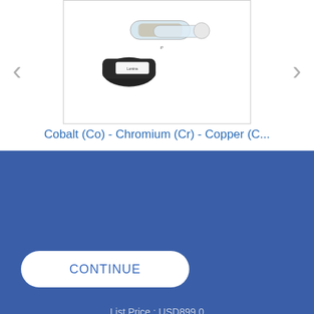[Figure (photo): Product photo of a scientific multi-element lamp (Cobalt, Chromium, Copper) by PerkinElmer/Lumina, shown at an angle with glass tube and black base.]
Cobalt (Co) - Chromium (Cr) - Copper (C...
List Price : USD899.0
PerkinElmer uses cookies to ensure that we give you the best experience possible on our website. This may include cookies from third party websites. If you continue without changing your settings, we will assume that you consent to receive cookies from this website. You can change your cookie settings at any time. To learn more, please review our cookie policy, which includes information on how to manage your cookies.
CONTINUE